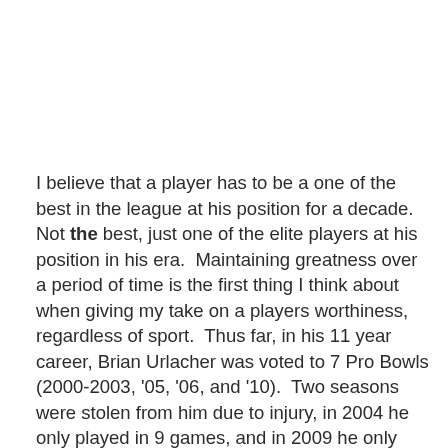I believe that a player has to be a one of the best in the league at his position for a decade.  Not the best, just one of the elite players at his position in his era.  Maintaining greatness over a period of time is the first thing I think about when giving my take on a players worthiness, regardless of sport.  Thus far, in his 11 year career, Brian Urlacher was voted to 7 Pro Bowls (2000-2003, '05, '06, and '10).  Two seasons were stolen from him due to injury, in 2004 he only played in 9 games, and in 2009 he only played in the opener against the Packers.  He somehow missed the Pro